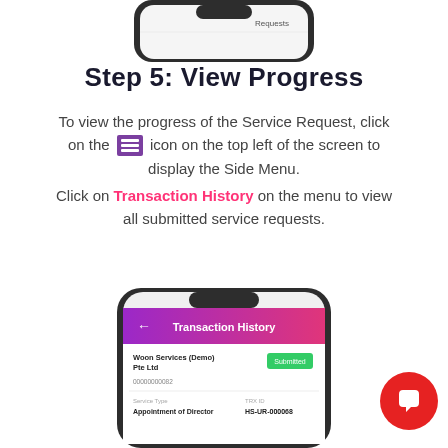[Figure (screenshot): Top portion of a smartphone showing the Requests screen (cropped, only top of phone visible)]
Step 5: View Progress
To view the progress of the Service Request, click on the [hamburger menu] icon on the top left of the screen to display the Side Menu. Click on Transaction History on the menu to view all submitted service requests.
[Figure (screenshot): Smartphone showing Transaction History screen with Woon Services (Demo) Pte Ltd entry showing Submitted status, TRX ID: HS-UR-000068, Service Type: Appointment of Director]